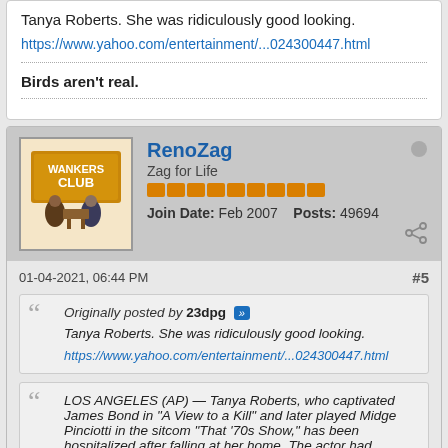Tanya Roberts. She was ridiculously good looking.
https://www.yahoo.com/entertainment/...024300447.html
Birds aren't real.
RenoZag
Zag for Life
Join Date: Feb 2007   Posts: 49694
01-04-2021, 06:44 PM
#5
Originally posted by 23dpg
Tanya Roberts. She was ridiculously good looking.
https://www.yahoo.com/entertainment/...024300447.html
LOS ANGELES (AP) — Tanya Roberts, who captivated James Bond in "A View to a Kill" and later played Midge Pinciotti in the sitcom "That '70s Show," has been hospitalized after falling at her home. The actor had mistakenly been